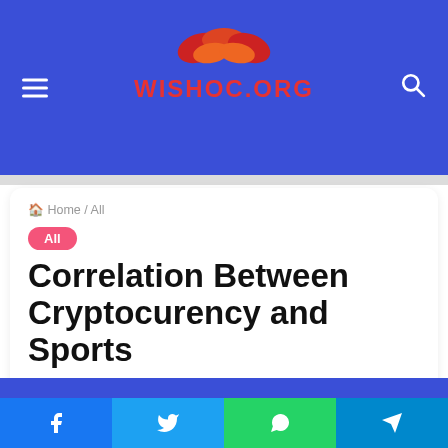wishoc.org
Home / All
All
Correlation Between Cryptocurency and Sports
Dennis · June 15, 2021  0  168  3 minutes read
[Figure (photo): Close-up of multiple cryptocurrency coins including Ethereum coin in center]
Facebook Twitter WhatsApp Telegram social share buttons